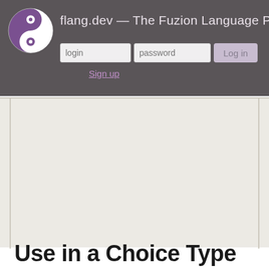flang.dev — The Fuzion Language Portal
Use in a Choice Type